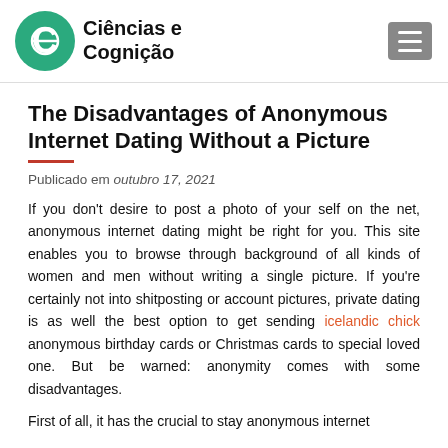Ciências e Cognição
The Disadvantages of Anonymous Internet Dating Without a Picture
Publicado em outubro 17, 2021
If you don't desire to post a photo of your self on the net, anonymous internet dating might be right for you. This site enables you to browse through background of all kinds of women and men without writing a single picture. If you're certainly not into shitposting or account pictures, private dating is as well the best option to get sending icelandic chick anonymous birthday cards or Christmas cards to special loved one. But be warned: anonymity comes with some disadvantages.
First of all, it has the crucial to stay anonymous internet